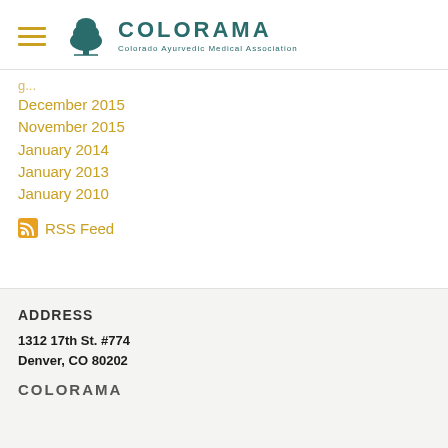COLORAMA — Colorado Ayurvedic Medical Association
December 2015
November 2015
January 2014
January 2013
January 2010
RSS Feed
ADDRESS
1312 17th St. #774
Denver, CO 80202
COLORAMA